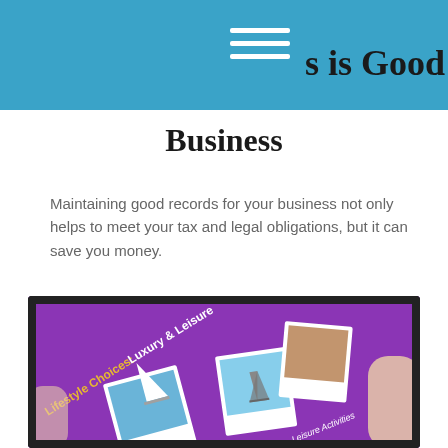s is Good Business
Maintaining good records for your business not only helps to meet your tax and legal obligations, but it can save you money.
[Figure (photo): Person holding a tablet displaying a purple screen with 'Lifestyle Choices: Luxury & Leisure' text and polaroid-style travel photos including a sailboat and the Eiffel Tower, with 'Leisure Activities' and 'Items' labels visible.]